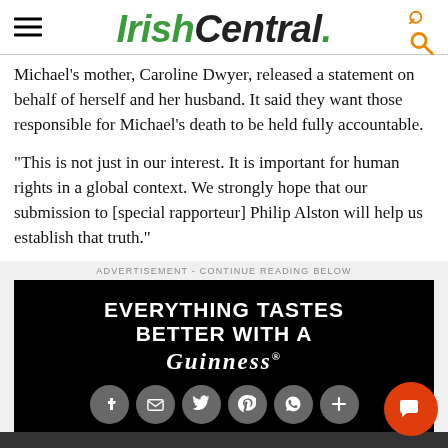IrishCentral.
Michael’s mother, Caroline Dwyer, released a statement on behalf of herself and her husband. It said they want those responsible for Michael’s death to be held fully accountable.
“This is not just in our interest. It is important for human rights in a global context. We strongly hope that our submission to [special rapporteur] Philip Alston will help us establish that truth.”
ADVERTISEMENT - CONTINUE READING BELOW
[Figure (advertisement): Guinness advertisement: EVERYTHING TASTES BETTER WITH A GUINNESS on black background with social sharing buttons below]